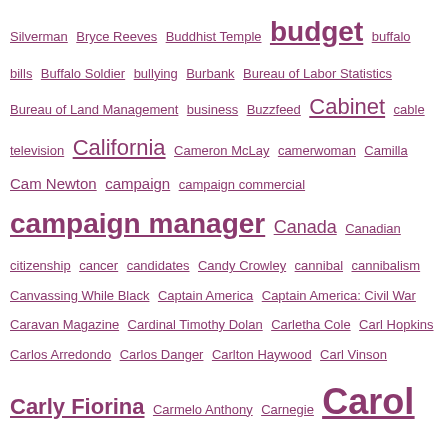Silverman Bryce Reeves Buddhist Temple budget buffalo bills Buffalo Soldier bullying Burbank Bureau of Labor Statistics Bureau of Land Management business Buzzfeed Cabinet cable television California Cameron McLay camerwoman Camilla Cam Newton campaign campaign commercial campaign manager Canada Canadian citizenship cancer candidates Candy Crowley cannibal cannibalism Canvassing While Black Captain America Captain America: Civil War Caravan Magazine Cardinal Timothy Dolan Carletha Cole Carl Hopkins Carlos Arredondo Carlos Danger Carlton Haywood Carl Vinson Carly Fiorina Carmelo Anthony Carnegie Carol Costello Carole Simpson Carolina Panthers Caroline Modarressy-Tehrani Carol Lea Carol Lee Carolyn Castiglia Caron Butler Carrier cartoon Casey Heynes Cassisu X Cassius Clay Catch the Thrones Catholic Church Cathy McMorris Rodgers Cathy Williams cattle CBC CBC Weekend CBS Ceasar Mitchell CEBR Report Cecil Gaines celebrity boxing Cenk Uygur Census Center for Economics and Business Research Center for Strategic and International Studies Chad Johnson Chad Ochocinco chains Chaka Fattah chant Charles Barkley Charles Darwin Charles Ellison Charles M. Blow Charles Murray Charles Pierce Charles